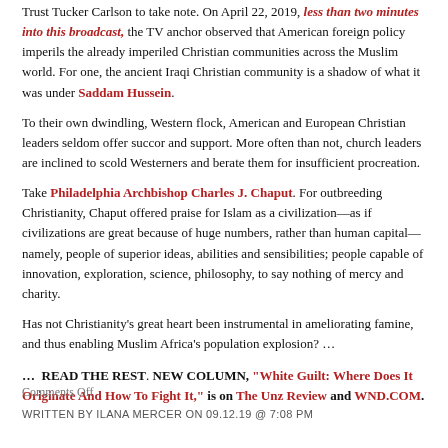Trust Tucker Carlson to take note. On April 22, 2019, less than two minutes into this broadcast, the TV anchor observed that American foreign policy imperils the already imperiled Christian communities across the Muslim world. For one, the ancient Iraqi Christian community is a shadow of what it was under Saddam Hussein.
To their own dwindling, Western flock, American and European Christian leaders seldom offer succor and support. More often than not, church leaders are inclined to scold Westerners and berate them for insufficient procreation.
Take Philadelphia Archbishop Charles J. Chaput. For outbreeding Christianity, Chaput offered praise for Islam as a civilization—as if civilizations are great because of huge numbers, rather than human capital—namely, people of superior ideas, abilities and sensibilities; people capable of innovation, exploration, science, philosophy, to say nothing of mercy and charity.
Has not Christianity's great heart been instrumental in ameliorating famine, and thus enabling Muslim Africa's population explosion? …
… READ THE REST. NEW COLUMN, "White Guilt: Where Does It Originate And How To Fight It," is on The Unz Review and WND.COM.
Comments Off
WRITTEN BY ILANA MERCER ON 09.12.19 @ 7:08 PM